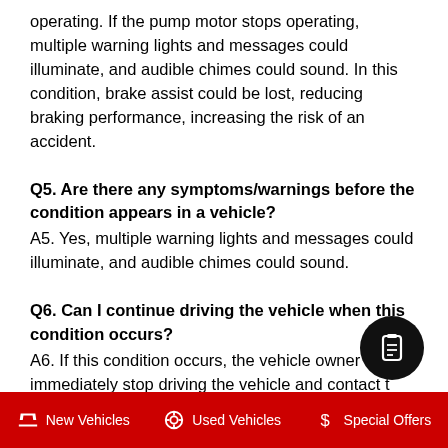operating. If the pump motor stops operating, multiple warning lights and messages could illuminate, and audible chimes could sound. In this condition, brake assist could be lost, reducing braking performance, increasing the risk of an accident.
Q5. Are there any symptoms/warnings before the condition appears in a vehicle?
A5. Yes, multiple warning lights and messages could illuminate, and audible chimes could sound.
Q6. Can I continue driving the vehicle when this condition occurs?
A6. If this condition occurs, the vehicle owner should immediately stop driving the vehicle and contact t…
New Vehicles   Used Vehicles   Special Offers